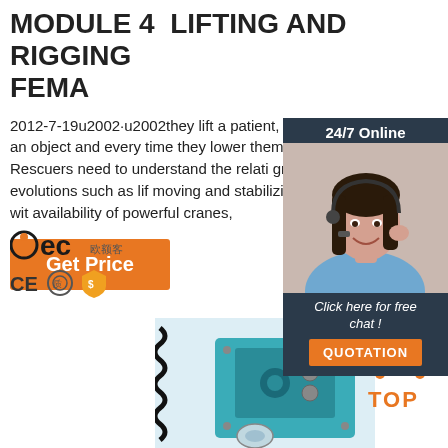MODULE 4  LIFTING AND RIGGING FEMA
2012-7-19u2002·u2002they lift a patient, every time they move an object and every time they lower themselves on a rope. Rescuers need to understand the relati gravity to basic tactical evolutions such as lif moving and stabilizing loads. Today even wit availability of powerful cranes,
Get Price
[Figure (photo): 24/7 Online chat widget with a female customer service representative wearing a headset, smiling. Dark navy background with 'Click here for free chat!' and an orange QUOTATION button.]
[Figure (logo): OEC logo with Chinese characters, followed by CE certification mark, quality mark, and gold shield icon]
[Figure (photo): Industrial machine (blue/teal colored) with a coiled spring/cable visible, photographed on white background]
[Figure (infographic): Orange dotted arc/triangle icon with 'TOP' text in orange below it]